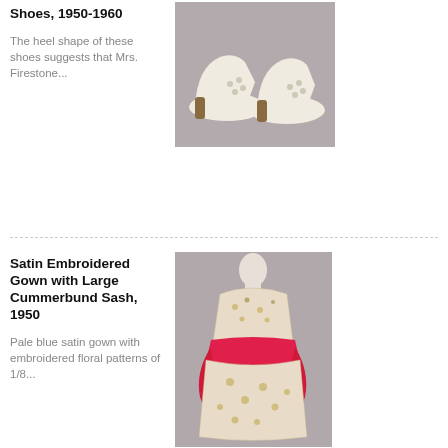Shoes, 1950-1960
The heel shape of these shoes suggests that Mrs. Firestone...
[Figure (photo): Pair of white/cream high-heeled shoes with quilted toe detail on grey background]
Satin Embroidered Gown with Large Cummerbund Sash, 1950
Pale blue satin gown with embroidered floral patterns of 1/8...
[Figure (photo): Pale embroidered gown with large pink/red cummerbund sash on mannequin, grey background]